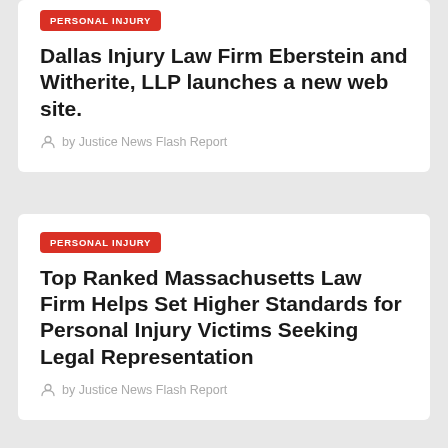PERSONAL INJURY
Dallas Injury Law Firm Eberstein and Witherite, LLP launches a new web site.
by Justice News Flash Report
PERSONAL INJURY
Top Ranked Massachusetts Law Firm Helps Set Higher Standards for Personal Injury Victims Seeking Legal Representation
by Justice News Flash Report